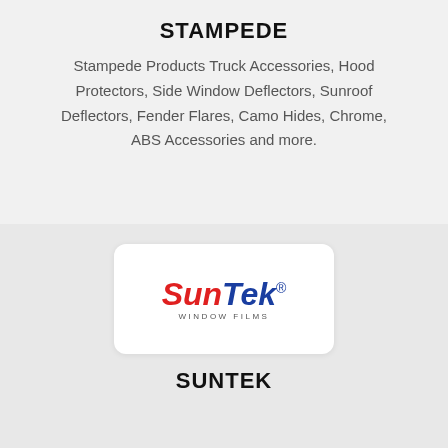STAMPEDE
Stampede Products Truck Accessories, Hood Protectors, Side Window Deflectors, Sunroof Deflectors, Fender Flares, Camo Hides, Chrome, ABS Accessories and more.
[Figure (logo): SunTek Window Films logo — 'Sun' in red italic bold, 'Tek' in blue italic bold with registered trademark symbol, 'WINDOW FILMS' in small grey caps below]
SUNTEK